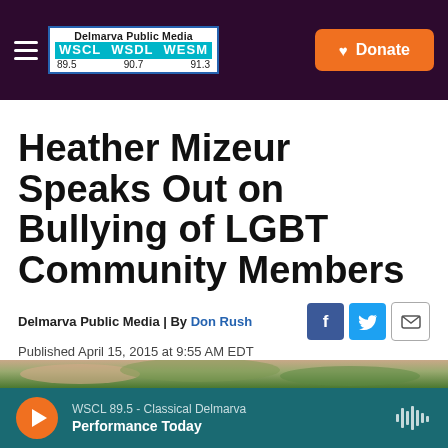Delmarva Public Media | WSCL 89.5 WSDL 90.7 WESM 91.3 | Donate
Heather Mizeur Speaks Out on Bullying of LGBT Community Members
Delmarva Public Media | By Don Rush
Published April 15, 2015 at 9:55 AM EDT
[Figure (photo): Blurred nature/outdoor photo with bokeh green background, partial view of what appears to be a bird or small animal]
WSCL 89.5 - Classical Delmarva | Performance Today